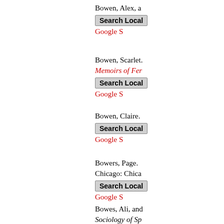Bowen, Alex, a
Search Local
Google S
Bowen, Scarlet. Memoirs of Fer
Search Local
Google S
Bowen, Claire.
Search Local
Google S
Bowers, Page. Chicago: Chica
Search Local
Google S
Bowes, Ali, and Sociology of Sp
Search Local